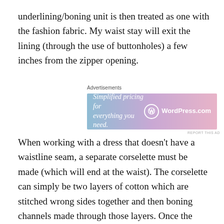underlining/boning unit is then treated as one with the fashion fabric. My waist stay will exit the lining (through the use of buttonholes) a few inches from the zipper opening.
[Figure (screenshot): WordPress.com advertisement banner: 'Simplified pricing for everything you need.' with WordPress.com logo on gradient blue-pink background.]
When working with a dress that doesn't have a waistline seam, a separate corselette must be made (which will end at the waist). The corselette can simply be two layers of cotton which are stitched wrong sides together and then boning channels made through those layers. Once the dress and lining have been put together, the corselette is attached to the dress at the top edge only. The corselette has it's own closure (I like hook/eye tape the best) and is tighter than the dress itself. Here are some photos I took